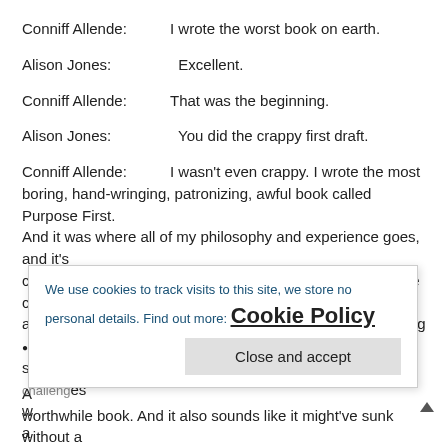Conniff Allende: I wrote the worst book on earth.
Alison Jones: Excellent.
Conniff Allende: That was the beginning.
Alison Jones: You did the crappy first draft.
Conniff Allende: I wasn't even crappy. I wrote the most boring, hand-wringing, patronizing, awful book called Purpose First. And it was where all of my philosophy and experience goes, and it's central to the argument within Be More Pirate, but it was the case for a more purposeful approach to business being one of the big solutions the world needs in the face of the kind of scale of challenges we...
We use cookies to track visits to this site, we store no personal details. Find out more: Cookie Policy
worthwhile book. And it also sounds like it might've sunk without a